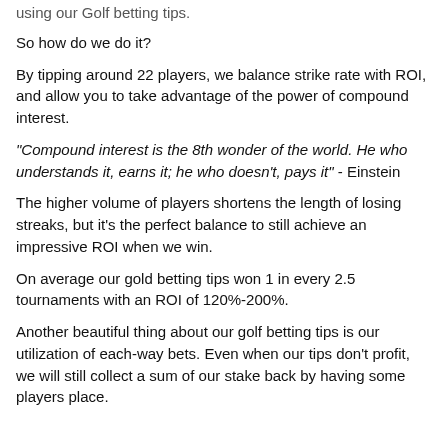using our Golf betting tips.
So how do we do it?
By tipping around 22 players, we balance strike rate with ROI, and allow you to take advantage of the power of compound interest.
"Compound interest is the 8th wonder of the world. He who understands it, earns it; he who doesn't, pays it" - Einstein
The higher volume of players shortens the length of losing streaks, but it's the perfect balance to still achieve an impressive ROI when we win.
On average our gold betting tips won 1 in every 2.5 tournaments with an ROI of 120%-200%.
Another beautiful thing about our golf betting tips is our utilization of each-way bets. Even when our tips don't profit, we will still collect a sum of our stake back by having some players place.